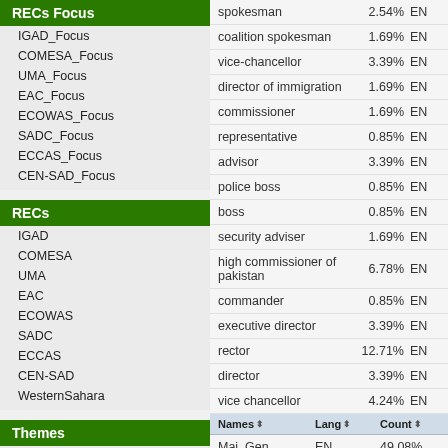RECs Focus
IGAD_Focus
COMESA_Focus
UMA_Focus
EAC_Focus
ECOWAS_Focus
SADC_Focus
ECCAS_Focus
CEN-SAD_Focus
RECs
IGAD
COMESA
UMA
EAC
ECOWAS
SADC
ECCAS
CEN-SAD
WesternSahara
Themes
Corona Virus Pandemic - COVID19 - Global
| Names | Lang | Count |
| --- | --- | --- |
| spokesman | 2.54% | EN |
| coalition spokesman | 1.69% | EN |
| vice-chancellor | 3.39% | EN |
| director of immigration | 1.69% | EN |
| commissioner | 1.69% | EN |
| representative | 0.85% | EN |
| advisor | 3.39% | EN |
| police boss | 0.85% | EN |
| boss | 0.85% | EN |
| security adviser | 1.69% | EN |
| high commissioner of pakistan | 6.78% | EN |
| commander | 0.85% | EN |
| executive director | 3.39% | EN |
| rector | 12.71% | EN |
| director | 3.39% | EN |
| vice chancellor | 4.24% | EN |
| Maj. Gen | EN | 49.08% |